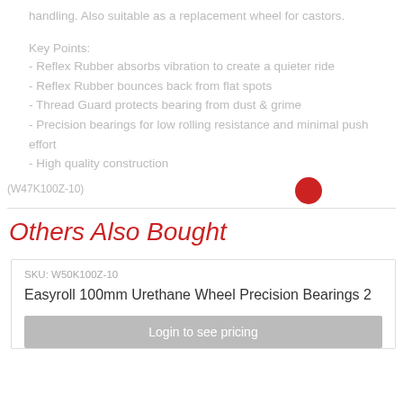handling. Also suitable as a replacement wheel for castors.
Key Points:
- Reflex Rubber absorbs vibration to create a quieter ride
- Reflex Rubber bounces back from flat spots
- Thread Guard protects bearing from dust & grime
- Precision bearings for low rolling resistance and minimal push effort
- High quality construction
(W47K100Z-10)
Others Also Bought
SKU: W50K100Z-10
Easyroll 100mm Urethane Wheel Precision Bearings 2
Login to see pricing